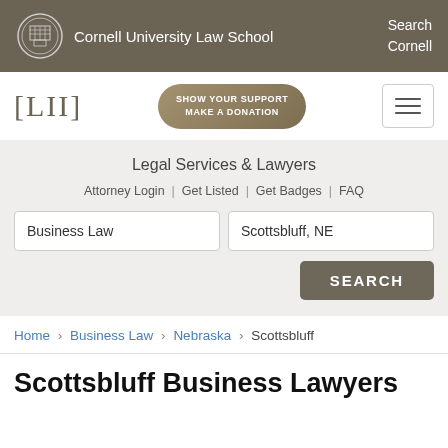Cornell University Law School | Search Cornell
[Figure (logo): LII Legal Information Institute logo with [LII] bracket text and Make a Donation button]
Legal Services & Lawyers
Attorney Login | Get Listed | Get Badges | FAQ
Business Law | Scottsbluff, NE | SEARCH
Home › Business Law › Nebraska › Scottsbluff
Scottsbluff Business Lawyers